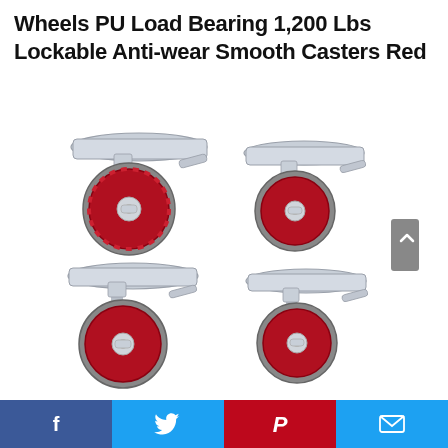Wheels PU Load Bearing 1,200 Lbs Lockable Anti-wear Smooth Casters Red
[Figure (photo): Four red polyurethane swivel caster wheels with silver metal mounting plates and brake levers, arranged in a 2x2 grid on a white background.]
Facebook | Twitter | Pinterest | Email social sharing bar